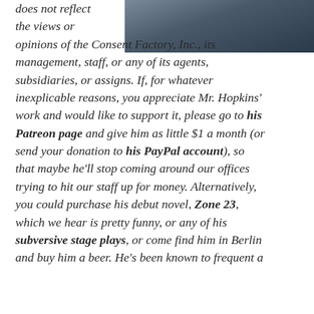[Figure (photo): Partial photo of a person in dark clothing, cropped at top right corner]
does not reflect the views or opinions of the Consent Factory, Inc., its management, staff, or any of its agents, subsidiaries, or assigns. If, for whatever inexplicable reasons, you appreciate Mr. Hopkins' work and would like to support it, please go to his Patreon page and give him as little $1 a month (or send your donation to his PayPal account), so that maybe he'll stop coming around our offices trying to hit our staff up for money. Alternatively, you could purchase his debut novel, Zone 23, which we hear is pretty funny, or any of his subversive stage plays, or come find him in Berlin and buy him a beer. He's been known to frequent a